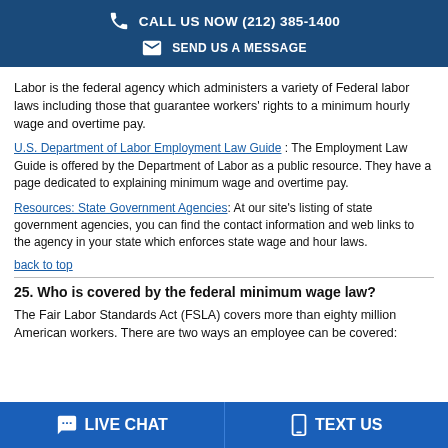CALL US NOW (212) 385-1400 | SEND US A MESSAGE
Labor is the federal agency which administers a variety of Federal labor laws including those that guarantee workers' rights to a minimum hourly wage and overtime pay.
U.S. Department of Labor Employment Law Guide : The Employment Law Guide is offered by the Department of Labor as a public resource. They have a page dedicated to explaining minimum wage and overtime pay.
Resources: State Government Agencies: At our site's listing of state government agencies, you can find the contact information and web links to the agency in your state which enforces state wage and hour laws.
back to top
25. Who is covered by the federal minimum wage law?
The Fair Labor Standards Act (FSLA) covers more than eighty million American workers. There are two ways an employee can be covered:
LIVE CHAT | TEXT US